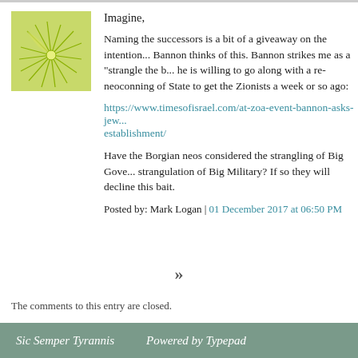[Figure (illustration): Green and yellow abstract sunburst/leaf pattern avatar icon]
Imagine,
Naming the successors is a bit of a giveaway on the intentions. Bannon thinks of this. Bannon strikes me as a "strangle the b..." he is willing to go along with a re-neoconning of State to get the Zionists a week or so ago:
https://www.timesofisrael.com/at-zoa-event-bannon-asks-jew... establishment/
Have the Borgian neos considered the strangling of Big Gove... strangulation of Big Military? If so they will decline this bait.
Posted by: Mark Logan | 01 December 2017 at 06:50 PM
»
The comments to this entry are closed.
Sic Semper Tyrannis    Powered by Typepad